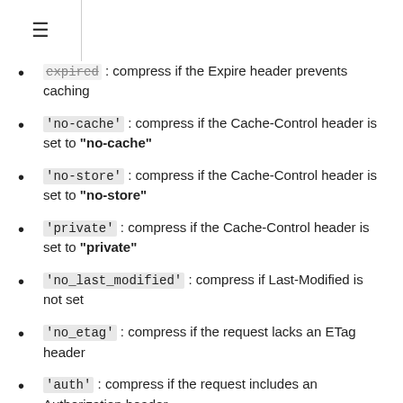≡
'expired': compress if the Expire header prevents caching
'no-cache': compress if the Cache-Control header is set to "no-cache"
'no-store': compress if the Cache-Control header is set to "no-store"
'private': compress if the Cache-Control header is set to "private"
'no_last_modified': compress if Last-Modified is not set
'no_etag': compress if the request lacks an ETag header
'auth': compress if the request includes an Authorization header
'any': compress all proxied requests